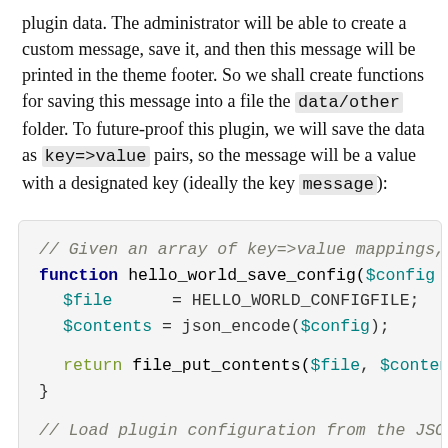plugin data. The administrator will be able to create a custom message, save it, and then this message will be printed in the theme footer. So we shall create functions for saving this message into a file the data/other folder. To future-proof this plugin, we will save the data as key=>value pairs, so the message will be a value with a designated key (ideally the key message):
[Figure (screenshot): PHP code block showing hello_world_save_config and hello_world_get_config functions with syntax highlighting. Comments in gray italic, keywords in dark blue bold, variables in teal, plain text in black.]